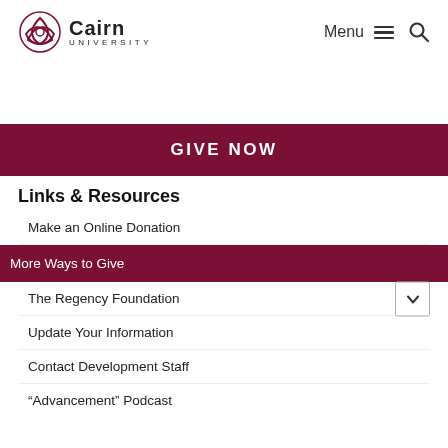Cairn University — Menu and Search navigation
[Figure (logo): Cairn University logo with Celtic knot emblem and text 'Cairn UNIVERSITY']
GIVE NOW
Links & Resources
Make an Online Donation
More Ways to Give
The Regency Foundation
Update Your Information
Contact Development Staff
“Advancement” Podcast